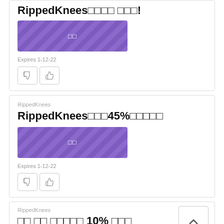[Figure (other): Coupon banner with purple striped background and text characters]
Expires 1-12-22
[Figure (other): Thumbs down and thumbs up vote buttons]
RippedKnees
RippedKnees□□045%□□□□□
[Figure (other): Coupon banner with purple striped background and text characters]
Expires 1-12-22
[Figure (other): Thumbs down and thumbs up vote buttons]
RippedKnees
□□ □□ □□□□□ 10% □□□
[Figure (other): Gray coupon banner partially visible]